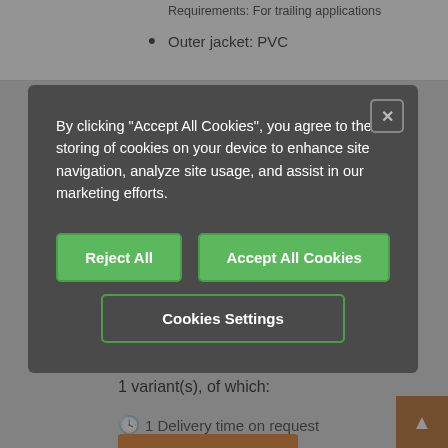Requirements: For trailing applications
Outer jacket: PVC
By clicking "Accept All Cookies", you agree to the storing of cookies on your device to enhance site navigation, analyze site usage, and assist in our marketing efforts.
Reject All
Accept All Cookies
Cookies Settings
USD 95.88/Pc.
Cost-effective price break available online
USD 95.88/Pc. 1 Pc.
1 variant(s), of which:
1 Delivery time on request